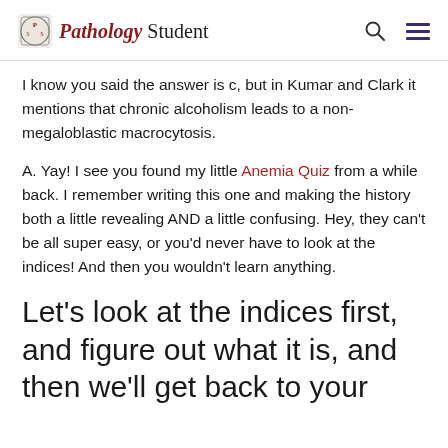Pathology Student
I know you said the answer is c, but in Kumar and Clark it mentions that chronic alcoholism leads to a non-megaloblastic macrocytosis.
A. Yay! I see you found my little Anemia Quiz from a while back. I remember writing this one and making the history both a little revealing AND a little confusing. Hey, they can't be all super easy, or you'd never have to look at the indices! And then you wouldn't learn anything.
Let's look at the indices first, and figure out what it is, and then we'll get back to your